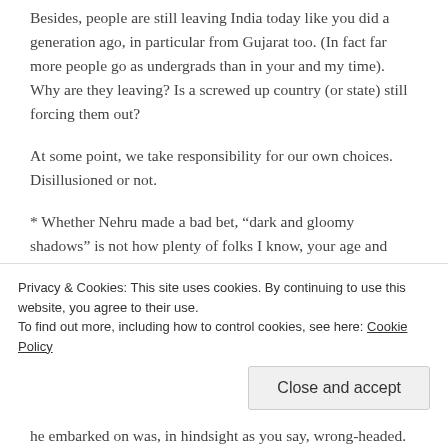Besides, people are still leaving India today like you did a generation ago, in particular from Gujarat too. (In fact far more people go as undergrads than in your and my time). Why are they leaving? Is a screwed up country (or state) still forcing them out?
At some point, we take responsibility for our own choices. Disillusioned or not.
* Whether Nehru made a bad bet, “dark and gloomy shadows” is not how plenty of folks I know, your age and older, would describe the India they grew up in. I realize your mileage may vary, but that’s the point: please don’t speak for all citizens of the country. Those folks I am referring to made meaningful, satisfying careers in that same India. I’m thinking of IAS officers
Privacy & Cookies: This site uses cookies. By continuing to use this website, you agree to their use.
To find out more, including how to control cookies, see here: Cookie Policy
Close and accept
he embarked on was, in hindsight as you say, wrong-headed.